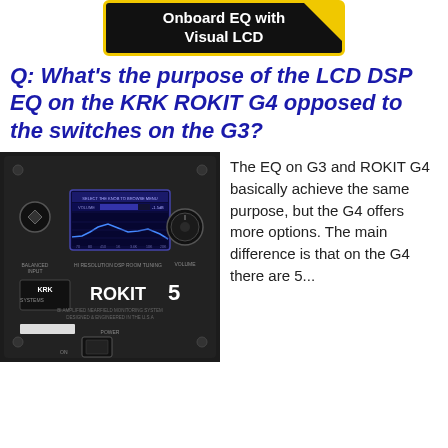[Figure (infographic): Black box with yellow border showing text 'Onboard EQ with Visual LCD' with yellow triangle corner accent]
Q: What's the purpose of the LCD DSP EQ on the KRK ROKIT G4 opposed to the switches on the G3?
[Figure (photo): Back panel of KRK ROKIT 5 G4 studio monitor speaker, showing black panel with LCD screen displaying DSP EQ curve, BALANCED INPUT, HI RESOLUTION DSP ROOM TUNING label, VOLUME knob, KRK SYSTEMS ROKIT 5 logo, BI AMPLIFIED NEARFIELD MONITORING SYSTEM, DESIGNED & ENGINEERED IN THE U.S.A, POWER section at bottom]
The EQ on G3 and ROKIT G4 basically achieve the same purpose, but the G4 offers more options.  The main difference is that on the G4 there are 5...